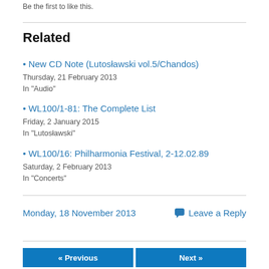Be the first to like this.
Related
• New CD Note (Lutosławski vol.5/Chandos)
Thursday, 21 February 2013
In "Audio"
• WL100/1-81: The Complete List
Friday, 2 January 2015
In "Lutosławski"
• WL100/16: Philharmonia Festival, 2-12.02.89
Saturday, 2 February 2013
In "Concerts"
Monday, 18 November 2013
💬 Leave a Reply
« Previous
Next »